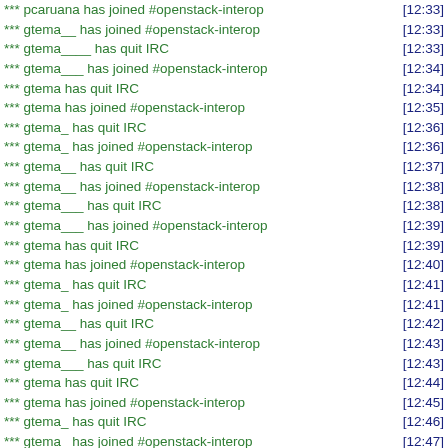*** pcaruana has joined #openstack-interop [12:33]
*** gtema__ has joined #openstack-interop [12:33]
*** gtema____ has quit IRC [12:33]
*** gtema___ has joined #openstack-interop [12:34]
*** gtema has quit IRC [12:34]
*** gtema has joined #openstack-interop [12:35]
*** gtema_ has quit IRC [12:36]
*** gtema_ has joined #openstack-interop [12:36]
*** gtema__ has quit IRC [12:37]
*** gtema__ has joined #openstack-interop [12:38]
*** gtema___ has quit IRC [12:38]
*** gtema___ has joined #openstack-interop [12:39]
*** gtema has quit IRC [12:39]
*** gtema has joined #openstack-interop [12:40]
*** gtema_ has quit IRC [12:41]
*** gtema_ has joined #openstack-interop [12:41]
*** gtema__ has quit IRC [12:42]
*** gtema__ has joined #openstack-interop [12:43]
*** gtema___ has quit IRC [12:43]
*** gtema has quit IRC [12:44]
*** gtema has joined #openstack-interop [12:45]
*** gtema_ has quit IRC [12:46]
*** gtema_ has joined #openstack-interop [12:47]